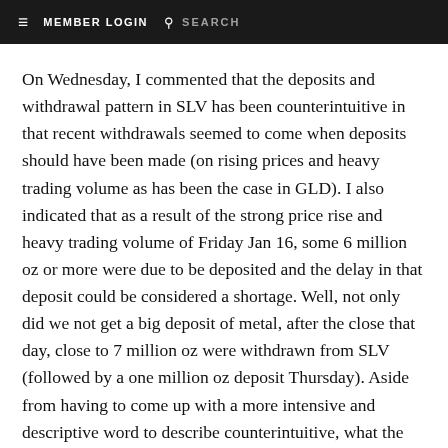≡  MEMBER LOGIN  🔍  SEARCH
On Wednesday, I commented that the deposits and withdrawal pattern in SLV has been counterintuitive in that recent withdrawals seemed to come when deposits should have been made (on rising prices and heavy trading volume as has been the case in GLD). I also indicated that as a result of the strong price rise and heavy trading volume of Friday Jan 16, some 6 million oz or more were due to be deposited and the delay in that deposit could be considered a shortage. Well, not only did we not get a big deposit of metal, after the close that day, close to 7 million oz were withdrawn from SLV (followed by a one million oz deposit Thursday). Aside from having to come up with a more intensive and descriptive word to describe counterintuitive, what the heck is going on?